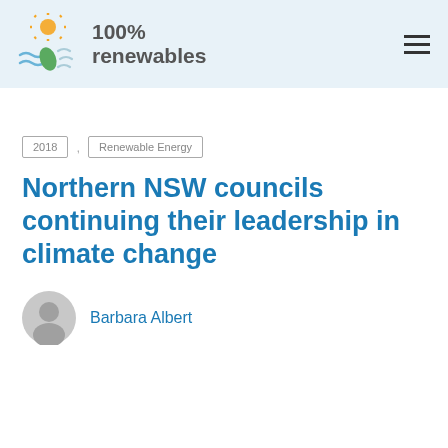100% renewables
2018 , Renewable Energy
Northern NSW councils continuing their leadership in climate change
Barbara Albert